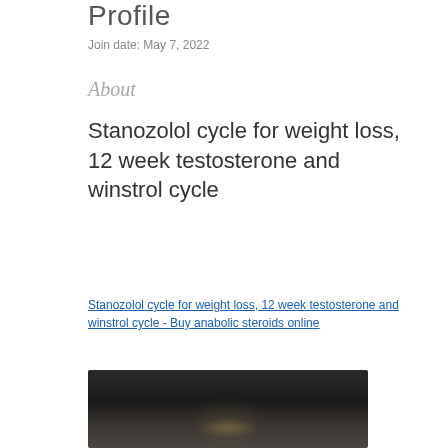Profile
Join date: May 7, 2022
About
Stanozolol cycle for weight loss, 12 week testosterone and winstrol cycle
Stanozolol cycle for weight loss, 12 week testosterone and winstrol cycle - Buy anabolic steroids online
[Figure (photo): Dark blurred image, partially visible at bottom of page]